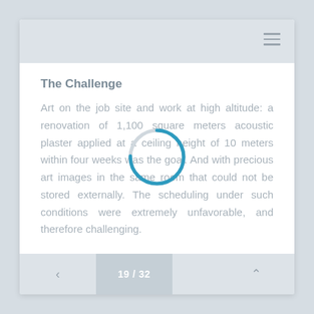The Challenge
Art on the job site and work at high altitude: a renovation of 1,100 square meters acoustic plaster applied at a ceiling height of 10 meters within four weeks was the goal. And with precious art images in the same room that could not be stored externally. The scheduling under such conditions were extremely unfavorable, and therefore challenging.
[Figure (other): Loading spinner — a circular arc in blue/steel color, indicating content is loading]
The Solution
Before the actual renovation could be started, an intensive research to choose the right material was
< | 19 / 32 | >